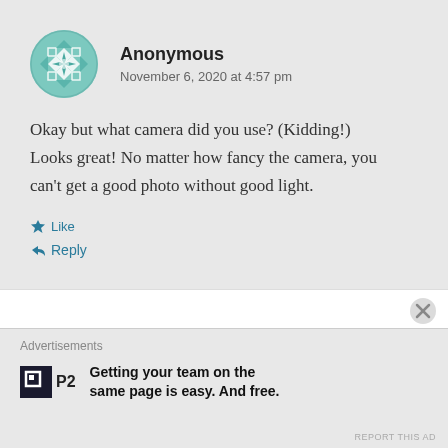[Figure (illustration): Teal/green geometric avatar icon with star/flower pattern, used as anonymous commenter profile picture]
Anonymous
November 6, 2020 at 4:57 pm
Okay but what camera did you use? (Kidding!) Looks great! No matter how fancy the camera, you can't get a good photo without good light.
Like
Reply
Advertisements
Getting your team on the same page is easy. And free.